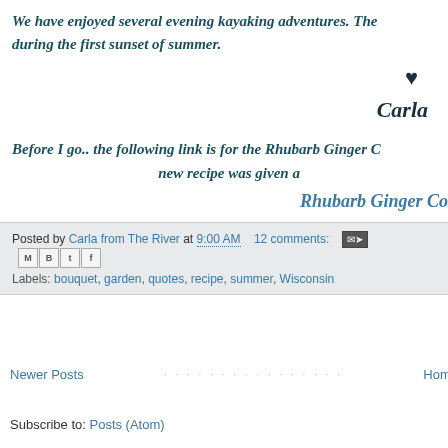We have enjoyed several evening kayaking adventures. The during the first sunset of summer.
♥
Carla
Before I go.. the following link is for the Rhubarb Ginger C new recipe was given a
Rhubarb Ginger Co
Posted by Carla from The River at 9:00 AM   12 comments:
Labels: bouquet, garden, quotes, recipe, summer, Wisconsin
Newer Posts
Home
Subscribe to: Posts (Atom)